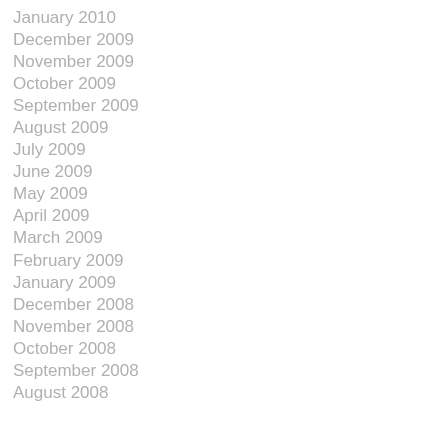January 2010
December 2009
November 2009
October 2009
September 2009
August 2009
July 2009
June 2009
May 2009
April 2009
March 2009
February 2009
January 2009
December 2008
November 2008
October 2008
September 2008
August 2008